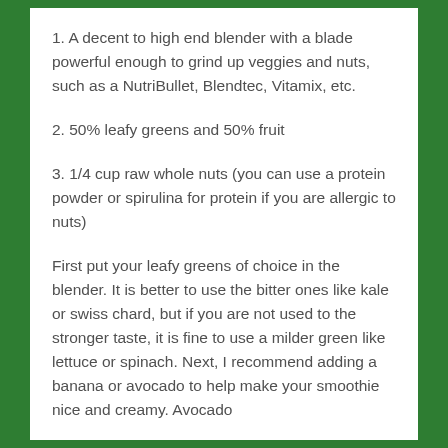1. A decent to high end blender with a blade powerful enough to grind up veggies and nuts, such as a NutriBullet, Blendtec, Vitamix, etc.
2. 50% leafy greens and 50% fruit
3. 1/4 cup raw whole nuts (you can use a protein powder or spirulina for protein if you are allergic to nuts)
First put your leafy greens of choice in the blender. It is better to use the bitter ones like kale or swiss chard, but if you are not used to the stronger taste, it is fine to use a milder green like lettuce or spinach. Next, I recommend adding a banana or avocado to help make your smoothie nice and creamy. Avocado